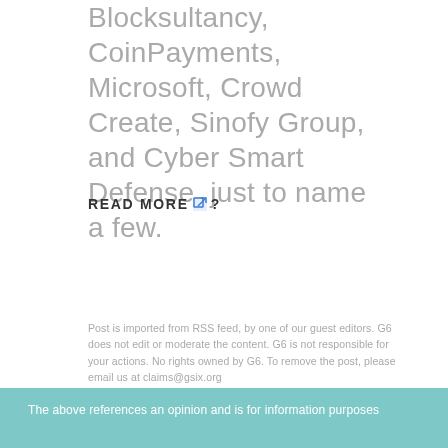Blocksultancy, CoinPayments, Microsoft, Crowd Create, Sinofy Group, and Cyber Smart Defense, just to name a few.
READ MORE 🔗?
Post is imported from RSS feed, by one of our guest editors. G6 does not edit or moderate the content. G6 is not responsible for your actions. No rights owned by G6. To remove the post, please email us at claims@gsix.org
The above references an opinion and is for information purposes